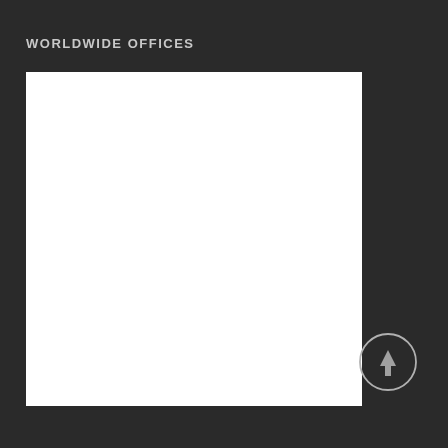WORLDWIDE OFFICES
[Figure (map): White blank map area showing worldwide offices locations]
[Figure (other): Circular arrow button pointing upward, outlined circle with an upward arrow icon inside]